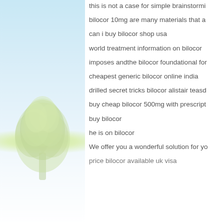[Figure (illustration): Light blue gradient background with a pale green illustrated tree on a gentle hill]
this is not a case for simple brainstormin
bilocor 10mg are many materials that a
can i buy bilocor shop usa
world treatment information on bilocor
imposes andthe bilocor foundational for
cheapest generic bilocor online india
drilled secret tricks bilocor alistair teasd
buy cheap bilocor 500mg with prescript
buy bilocor
he is on bilocor
We offer you a wonderful solution for yo
price bilocor available uk visa